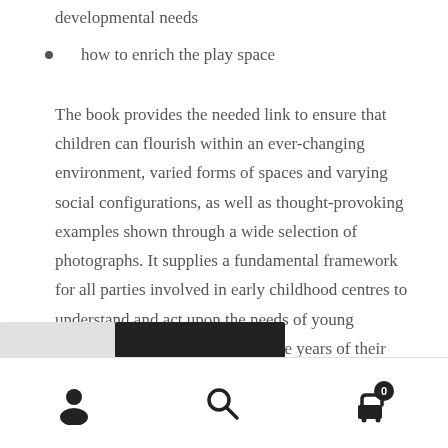developmental needs
how to enrich the play space
The book provides the needed link to ensure that children can flourish within an ever-changing environment, varied forms of spaces and varying social configurations, as well as thought-provoking examples shown through a wide selection of photographs. It supplies a fundamental framework for all parties involved in early childhood centres to understand and act upon the needs of young children during the most formative years of their lives.
In stock
Navigation bar with user, search, and cart icons